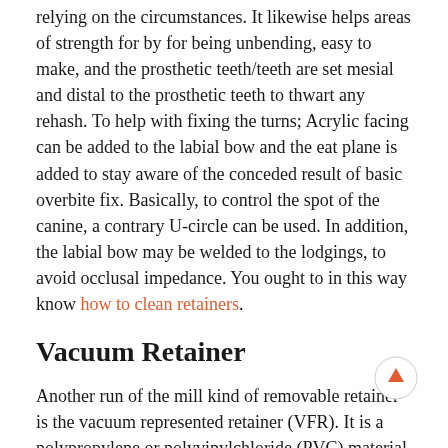relying on the circumstances. It likewise helps areas of strength for by for being unbending, easy to make, and the prosthetic teeth/teeth are set mesial and distal to the prosthetic teeth to thwart any rehash. To help with fixing the turns; Acrylic facing can be added to the labial bow and the eat plane is added to stay aware of the conceded result of basic overbite fix. Basically, to control the spot of the canine, a contrary U-circle can be used. In addition, the labial bow may be welded to the lodgings, to avoid occlusal impedance. You ought to in this way know how to clean retainers.
Vacuum Retainer
Another run of the mill kind of removable retainer is the vacuum represented retainer (VFR). It is a polypropylene or polyvinylchloride (PVC) material. VFRs are made using a thermoforming correspondence, either vacuum-or strain thermoforming. This plainly obvious or direct retainer by and large fits over the entire bend of the teeth, yet a few plans as of late fit start with one canine then onto the accompanying